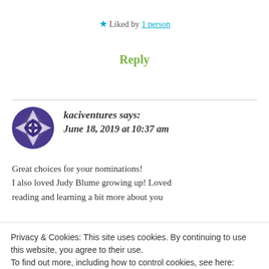★ Liked by 1 person
Reply
kaciventures says: June 18, 2019 at 10:37 am
Great choices for your nominations! I also loved Judy Blume growing up! Loved reading and learning a bit more about you
Privacy & Cookies: This site uses cookies. By continuing to use this website, you agree to their use. To find out more, including how to control cookies, see here: Cookie Policy